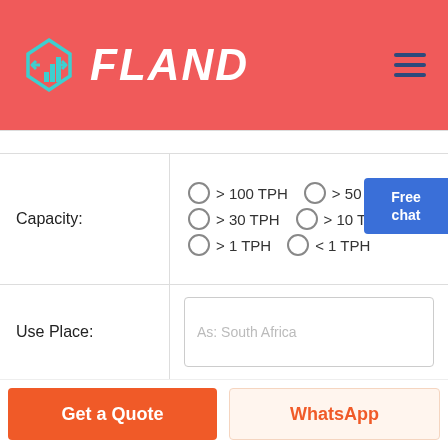[Figure (logo): FLAND logo with geometric diamond/arrow icon in teal/cyan color on red background, with white bold italic text FLAND]
| Capacity: | > 100 TPH  > 50 TPH  > 30 TPH  > 10 TPH  > 1 TPH  < 1 TPH |
| Use Place: | As: South Africa |
| Name:* | As: Mario |
Get a Quote
WhatsApp